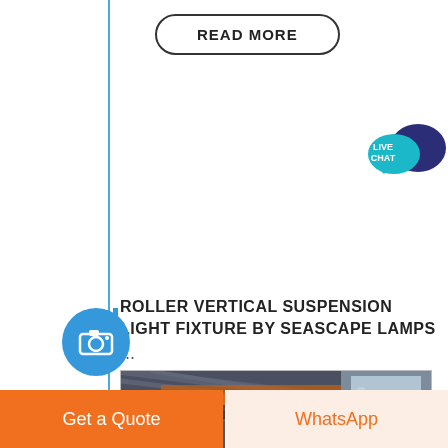[Figure (other): READ MORE pill-shaped button with black border on white background]
[Figure (other): Live Chat speech bubble icon in teal and dark blue]
[Figure (other): Blue circle with white camera icon, used as a navigation/section indicator on left side]
ROLLER VERTICAL SUSPENSION LIGHT FIXTURE BY SEASCAPE LAMPS
...
[Figure (photo): Industrial factory interior showing heavy machinery and equipment on a truck/vehicle, with orange crane beams overhead]
[Figure (other): Get a Quote orange button at bottom left]
[Figure (other): WhatsApp button at bottom right with light peach background and orange text]